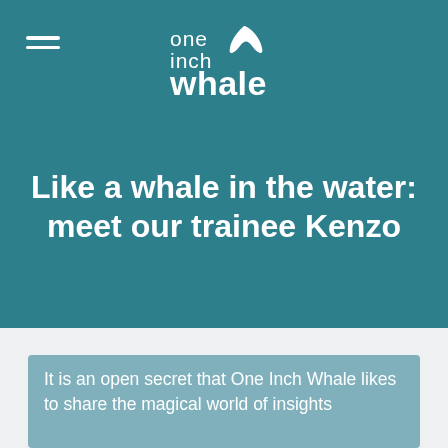[Figure (logo): One Inch Whale logo in white text with a stylized whale tail icon on a teal background]
Like a whale in the water: meet our trainee Kenzo
It is an open secret that One Inch Whale likes to share the magical world of insights